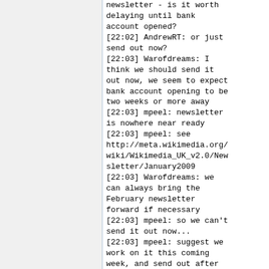[...] newsletter - is it worth delaying until bank account opened?
[22:02] AndrewRT: or just send out now?
[22:03] Warofdreams: I think we should send it out now, we seem to expect bank account opening to be two weeks or more away
[22:03] mpeel: newsletter is nowhere near ready
[22:03] mpeel: see http://meta.wikimedia.org/wiki/Wikimedia_UK_v2.0/Newsletter/January2009
[22:03] Warofdreams: we can always bring the February newsletter forward if necessary
[22:03] mpeel: so we can't send it out now...
[22:03] mpeel: suggest we work on it this coming week, and send out after